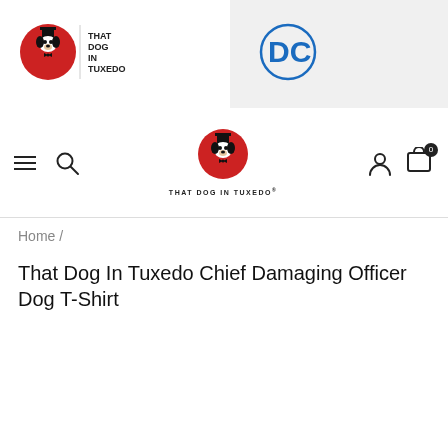[Figure (logo): That Dog In Tuxedo logo — dog in tuxedo icon with text THAT DOG IN TUXEDO]
[Figure (logo): DC Comics logo in blue circle outline]
[Figure (logo): That Dog In Tuxedo center nav logo with text THAT DOG IN TUXEDO below]
Home /
That Dog In Tuxedo Chief Damaging Officer Dog T-Shirt